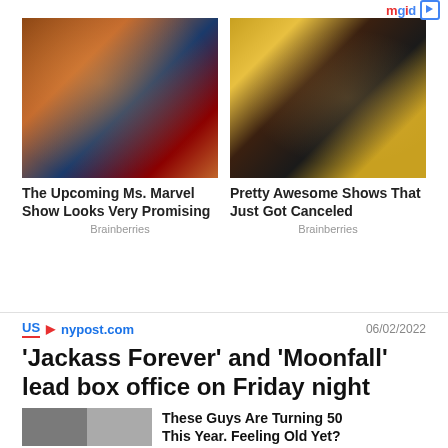[Figure (logo): mgid logo with play button icon in top right]
[Figure (photo): Ms. Marvel character in blue and red superhero costume]
The Upcoming Ms. Marvel Show Looks Very Promising
Brainberries
[Figure (photo): Two people, a man and a woman, posing together in a TV show setting]
Pretty Awesome Shows That Just Got Canceled
Brainberries
US ▶ nypost.com  06/02/2022
'Jackass Forever' and 'Moonfall' lead box office on Friday night
[Figure (photo): Two men's headshots side by side]
These Guys Are Turning 50 This Year. Feeling Old Yet?